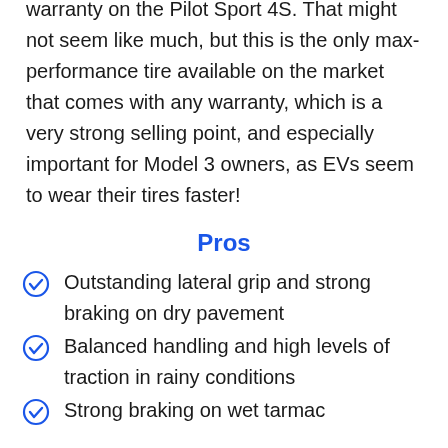warranty on the Pilot Sport 4S. That might not seem like much, but this is the only max-performance tire available on the market that comes with any warranty, which is a very strong selling point, and especially important for Model 3 owners, as EVs seem to wear their tires faster!
Pros
Outstanding lateral grip and strong braking on dry pavement
Balanced handling and high levels of traction in rainy conditions
Strong braking on wet tarmac